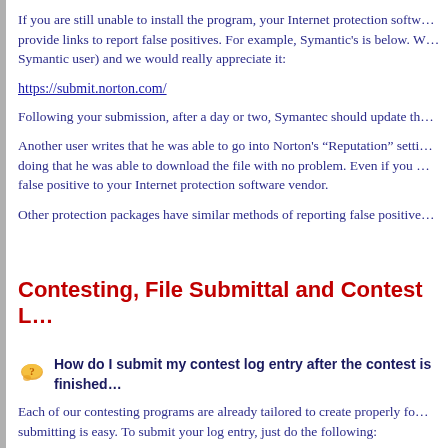If you are still unable to install the program, your Internet protection software may provide links to report false positives. For example, Symantic's is below. We (if you are a Symantic user) and we would really appreciate it:
https://submit.norton.com/
Following your submission, after a day or two, Symantec should update th...
Another user writes that he was able to go into Norton's “Reputation” settings and by doing that he was able to download the file with no problem. Even if you ... false positive to your Internet protection software vendor.
Other protection packages have similar methods of reporting false positives...
Contesting, File Submittal and Contest L...
How do I submit my contest log entry after the contest is finished...
Each of our contesting programs are already tailored to create properly formatted submitting is easy. To submit your log entry, just do the following: